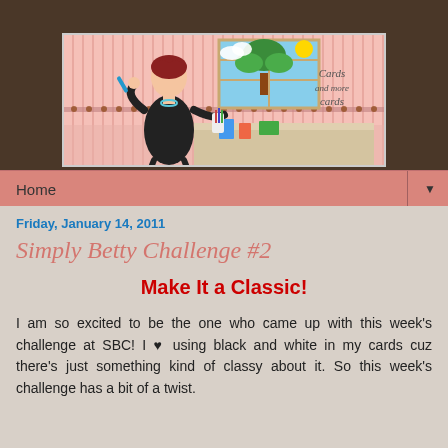[Figure (illustration): Blog header banner for 'Cards and more cards' blog showing a cartoon woman in black dress crafting at a table, with a window showing a tree outside, pink striped background]
Home ▼
Friday, January 14, 2011
Simply Betty Challenge #2
Make It a Classic!
I am so excited to be the one who came up with this week's challenge at SBC!  I ♥ using black and white in my cards cuz there's just something kind of classy about it.  So this week's challenge has a bit of a twist.